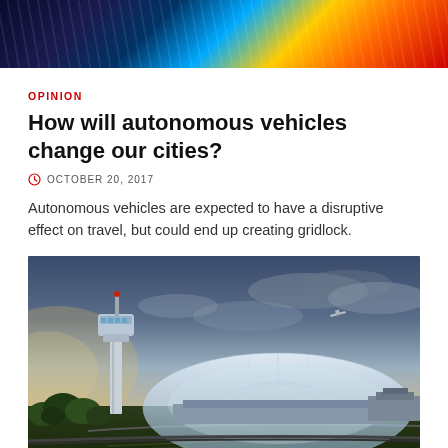[Figure (photo): Abstract blurred light trails on dark background — top banner image]
OPINION
How will autonomous vehicles change our cities?
OCTOBER 20, 2017
Autonomous vehicles are expected to have a disruptive effect on travel, but could end up creating gridlock.
[Figure (photo): Aerial/dusk rendering of Changi Airport with control tower and large dome structure (Jewel), Singapore]